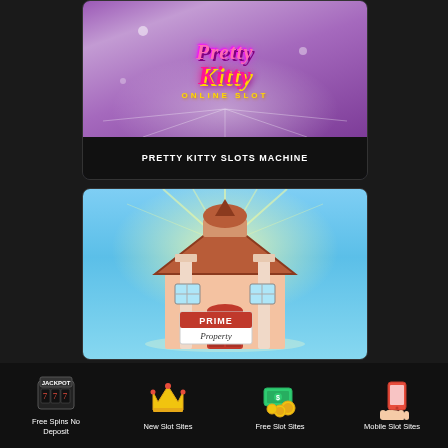[Figure (screenshot): Pretty Kitty Online Slot game card with purple background and pink/gold stylized text]
PRETTY KITTY SLOTS MACHINE
[Figure (screenshot): Prime Property slot game card showing a cartoon house on a light blue background with Prime Property logo sign]
Free Spins No Deposit | New Slot Sites | Free Slot Sites | Mobile Slot Sites